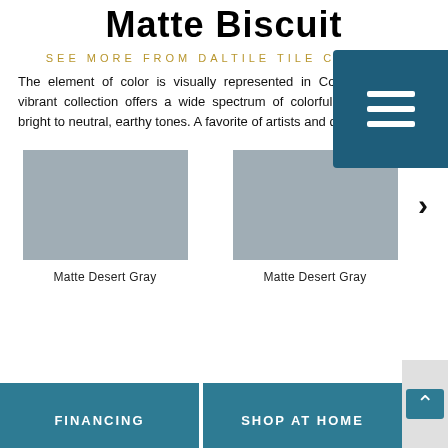Matte Biscuit
SEE MORE FROM DALTILE TILE CATALOG
The element of color is visually represented in Color Wheel. This vibrant collection offers a wide spectrum of colorful selections from bright to neutral, earthy tones. A favorite of artists and designers.
[Figure (photo): Matte Desert Gray tile swatch - left]
Matte Desert Gray
[Figure (photo): Matte Desert Gray tile swatch - right]
Matte Desert Gray
[Figure (other): Navigation menu overlay icon (teal background with three white horizontal lines)]
FINANCING
SHOP AT HOME